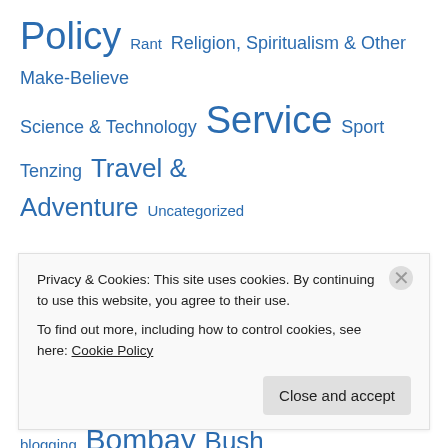Policy Rant Religion, Spiritualism & Other Make-Believe Science & Technology Service Sport Tenzing Travel & Adventure Uncategorized
Topic Cloud
Ahmedabad Al Qaeda America Auroville Barack Obama beach blogging Bombay Bush CharityFocus Chennai Colin Powell corruption dance Delhi democracy development Dil se Dil
Privacy & Cookies: This site uses cookies. By continuing to use this website, you agree to their use. To find out more, including how to control cookies, see here: Cookie Policy